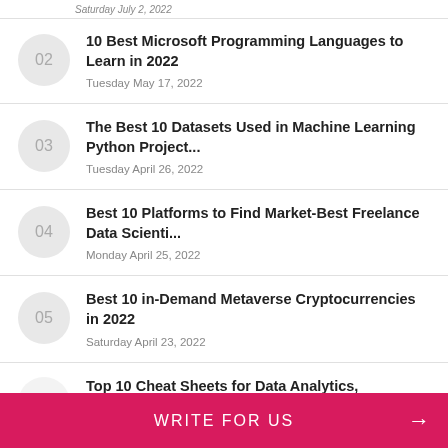Saturday July 2, 2022
10 Best Microsoft Programming Languages to Learn in 2022
Tuesday May 17, 2022
The Best 10 Datasets Used in Machine Learning Python Project...
Tuesday April 26, 2022
Best 10 Platforms to Find Market-Best Freelance Data Scienti...
Monday April 25, 2022
Best 10 in-Demand Metaverse Cryptocurrencies in 2022
Saturday April 23, 2022
Top 10 Cheat Sheets for Data Analytics,
WRITE FOR US